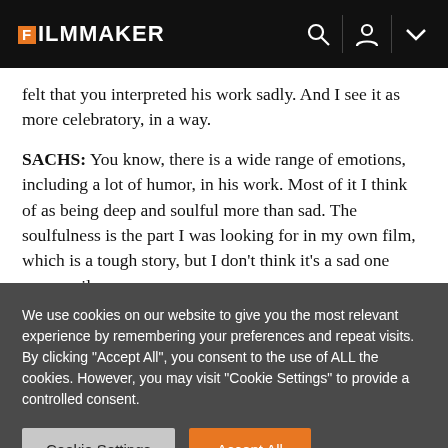FILMMAKER
felt that you interpreted his work sadly. And I see it as more celebratory, in a way.
SACHS: You know, there is a wide range of emotions, including a lot of humor, in his work. Most of it I think of as being deep and soulful more than sad. The soulfulness is the part I was looking for in my own film, which is a tough story, but I don't think it's a sad one necessarily.
We use cookies on our website to give you the most relevant experience by remembering your preferences and repeat visits. By clicking "Accept All", you consent to the use of ALL the cookies. However, you may visit "Cookie Settings" to provide a controlled consent.
Cookie Settings
Accept All